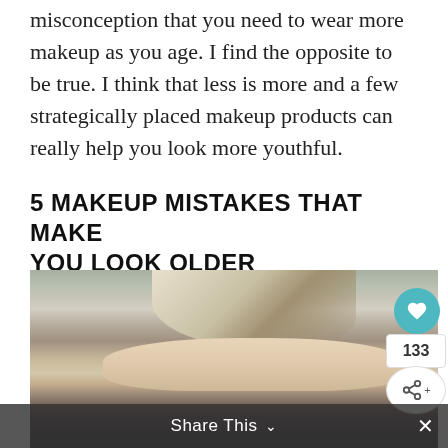misconception that you need to wear more makeup as you age. I find the opposite to be true. I think that less is more and a few strategically placed makeup products can really help you look more youthful.
5 MAKEUP MISTAKES THAT MAKE YOU LOOK OLDER
[Figure (photo): Close-up photo of a middle-aged woman with blonde-grey hair, pale skin, and blue eyes looking into the camera]
Share This